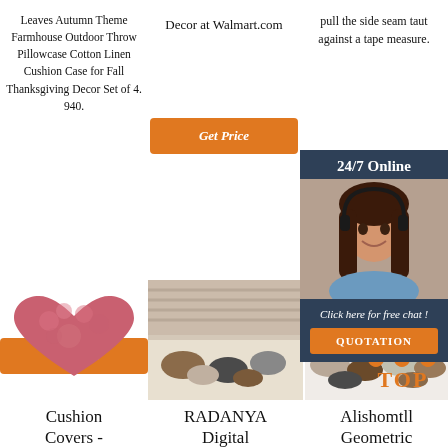Leaves Autumn Theme Farmhouse Outdoor Throw Pillowcase Cotton Linen Cushion Case for Fall Thanksgiving Decor Set of 4. 940.
Decor at Walmart.com
pull the side seam taut against a tape measure.
[Figure (infographic): Orange 'Get Price' button (center column)]
[Figure (infographic): Partial orange 'G' button partially hidden behind chat widget (right column)]
[Figure (infographic): 24/7 Online chat widget with photo of woman with headset, 'Click here for free chat!' text and QUOTATION button]
[Figure (infographic): Orange 'Get Price' button (left column)]
[Figure (photo): Pink heart-shaped fluffy pillow/cushion cover]
[Figure (photo): Baby/toddler shoes and slippers arranged on a rug]
[Figure (photo): Various slipper/shoe styles arranged on white surface]
[Figure (infographic): TOP arrow decoration in orange]
Cushion Covers -
RADANYA Digital
Alishomtll Geometric